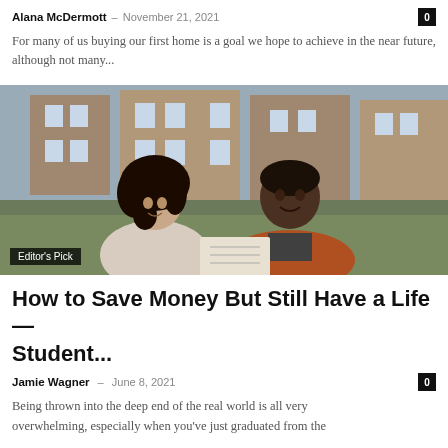Alana McDermott – November 21, 2021   0
For many of us buying our first home is a goal we hope to achieve in the near future, although not many...
[Figure (photo): Two young adults, a woman with curly hair and a man in an orange jacket, sitting outdoors looking at a notebook together, brick building in background. Badge: Editor's Pick]
How to Save Money But Still Have a Life — Student...
Jamie Wagner – June 8, 2021   0
Being thrown into the deep end of the real world is all very overwhelming, especially when you've just graduated from the